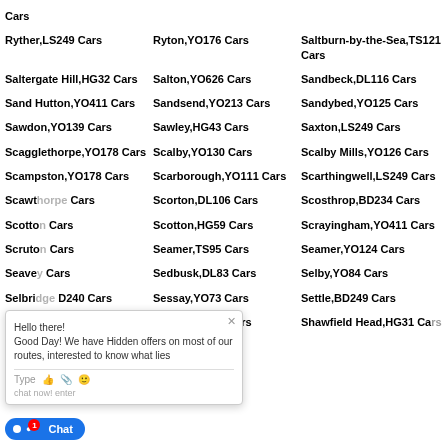Cars
Ryther,LS249 Cars
Ryton,YO176 Cars
Saltburn-by-the-Sea,TS121 Cars
Saltergate Hill,HG32 Cars
Salton,YO626 Cars
Sandbeck,DL116 Cars
Sand Hutton,YO411 Cars
Sandsend,YO213 Cars
Sandybed,YO125 Cars
Sawdon,YO139 Cars
Sawley,HG43 Cars
Saxton,LS249 Cars
Scagglethorpe,YO178 Cars
Scalby,YO130 Cars
Scalby Mills,YO126 Cars
Scampston,YO178 Cars
Scarborough,YO111 Cars
Scarthingwell,LS249 Cars
Scawt... Cars
Scorton,DL106 Cars
Scosthrop,BD234 Cars
Scotto... Cars
Scotton,HG59 Cars
Scrayingham,YO411 Cars
Scruto... Cars
Seamer,TS95 Cars
Seamer,YO124 Cars
Seave... Cars
Sedbusk,DL83 Cars
Selby,YO84 Cars
Selbri... D240 Cars
Sessay,YO73 Cars
Settle,BD249 Cars
Sexhow,TS150 Cars
Sharow,HG45 Cars
Shawfield Head,HG31 Cars